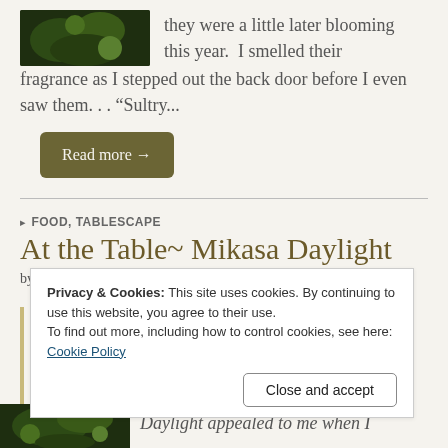[Figure (photo): Dark green garden/plant photo thumbnail at top left]
they were a little later blooming this year.  I smelled their fragrance as I stepped out the back door before I even saw them. . . “Sultry...
Read more →
FOOD, TABLESCAPE
At the Table~ Mikasa Daylight
by Mary
Privacy & Cookies: This site uses cookies. By continuing to use this website, you agree to their use.
To find out more, including how to control cookies, see here:
Cookie Policy
Close and accept
[Figure (photo): Small garden/food plate photo at bottom left]
Daylight appealed to me when I